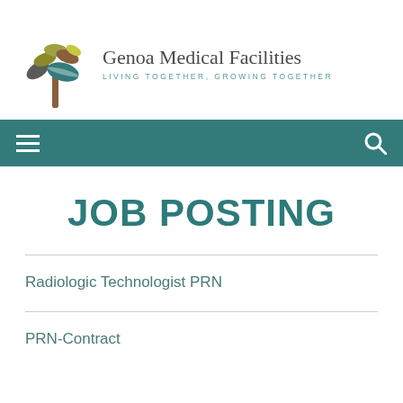[Figure (logo): Genoa Medical Facilities logo with stylized tree made of colorful leaves and text 'Genoa Medical Facilities' with tagline 'LIVING TOGETHER, GROWING TOGETHER']
JOB POSTING
Radiologic Technologist PRN
PRN-Contract